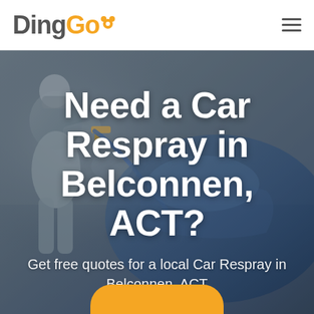[Figure (logo): DingGo logo with orange and grey text and location pin icon]
[Figure (photo): Background photo of a person in protective gear spraying paint on a car in a workshop, with blue car and spray gun visible]
Need a Car Respray in Belconnen, ACT?
Get free quotes for a local Car Respray in Belconnen, ACT